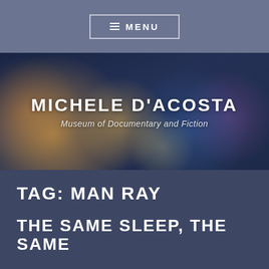≡ MENU
MICHELE D'ACOSTA
Museum of Documentary and Fiction
TAG: MAN RAY
THE SAME SLEEP, THE SAME
Follow ...